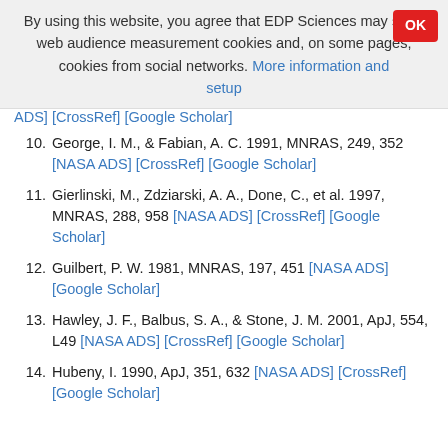By using this website, you agree that EDP Sciences may store web audience measurement cookies and, on some pages, cookies from social networks. More information and setup
ADS] [CrossRef] [Google Scholar]
10. George, I. M., & Fabian, A. C. 1991, MNRAS, 249, 352 [NASA ADS] [CrossRef] [Google Scholar]
11. Gierlinski, M., Zdziarski, A. A., Done, C., et al. 1997, MNRAS, 288, 958 [NASA ADS] [CrossRef] [Google Scholar]
12. Guilbert, P. W. 1981, MNRAS, 197, 451 [NASA ADS] [Google Scholar]
13. Hawley, J. F., Balbus, S. A., & Stone, J. M. 2001, ApJ, 554, L49 [NASA ADS] [CrossRef] [Google Scholar]
14. Hubeny, I. 1990, ApJ, 351, 632 [NASA ADS] [CrossRef] [Google Scholar]